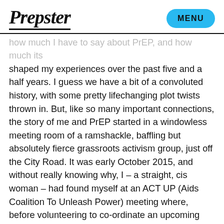Prepster | MENU
how much I have to say about PrEP, and how much its shaped my experiences over the past five and a half years. I guess we have a bit of a convoluted history, with some pretty lifechanging plot twists thrown in. But, like so many important connections, the story of me and PrEP started in a windowless meeting room of a ramshackle, baffling but absolutely fierce grassroots activism group, just off the City Road. It was early October 2015, and without really knowing why, I – a straight, cis woman – had found myself at an ACT UP (Aids Coalition To Unleash Power) meeting where, before volunteering to co-ordinate an upcoming protest orgy, two dashing blonde young things had given us brief presentations on what would be a truly era defining development.
“I’ve just got back from New York where there’s this thing